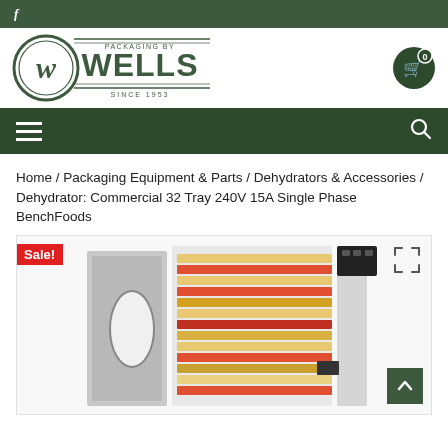f
[Figure (logo): Packaging by Wells logo — green oval shield with stylized W, text WELLS and SINCE 1953]
[Figure (other): Shopping cart icon with badge showing 0]
Navigation bar with hamburger menu and search icon
Home / Packaging Equipment & Parts / Dehydrators & Accessories / Dehydrator: Commercial 32 Tray 240V 15A Single Phase BenchFoods
[Figure (photo): Commercial 32-tray food dehydrator, stainless steel, open door showing multiple trays loaded with fruits and vegetables. Sale! badge in red.]